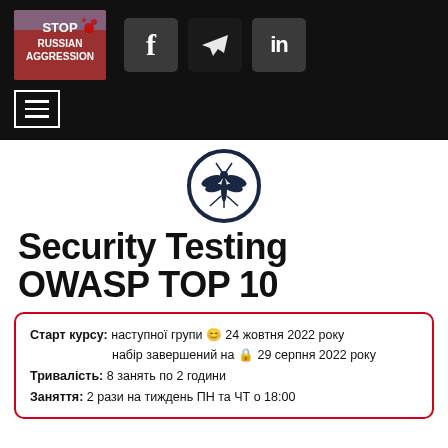[Figure (screenshot): Website header with Stop Russian Aggression protest sign image, and Facebook, Telegram, LinkedIn social icons on black background, plus hamburger menu button]
[Figure (logo): OWASP logo — dragonfly/mosquito insect inside a circle outline]
Security Testing OWASP TOP 10
Старт курсу: наступної групи 😊 24 жовтня 2022 року набір завершений на 🔒 29 серпня 2022 року
Тривалість: 8 занять по 2 години
Заняття: 2 рази на тиждень ПН та ЧТ о 18:00